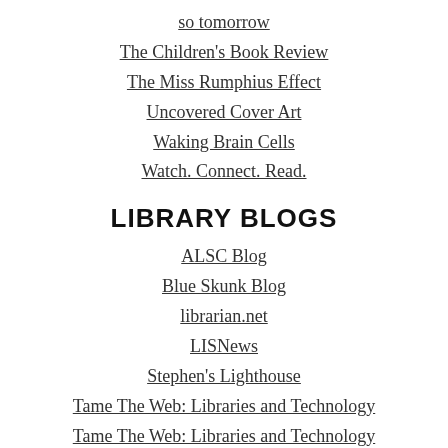so tomorrow
The Children's Book Review
The Miss Rumphius Effect
Uncovered Cover Art
Waking Brain Cells
Watch. Connect. Read.
LIBRARY BLOGS
ALSC Blog
Blue Skunk Blog
librarian.net
LISNews
Stephen's Lighthouse
Tame The Web: Libraries and Technology
Tame The Web: Libraries and Technology
Unshelved